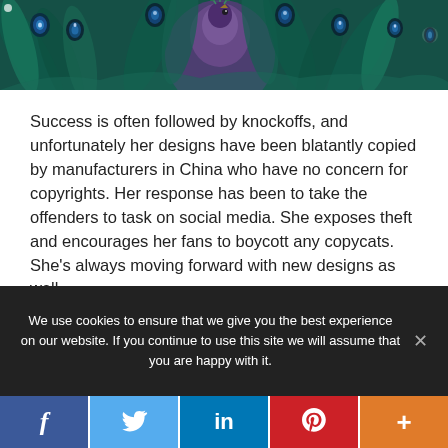[Figure (photo): Peacock with colorful teal and blue feathers, decorative illustration at top of page]
Success is often followed by knockoffs, and unfortunately her designs have been blatantly copied by manufacturers in China who have no concern for copyrights. Her response has been to take the offenders to task on social media. She exposes theft and encourages her fans to boycott any copycats. She's always moving forward with new designs as well.
We use cookies to ensure that we give you the best experience on our website. If you continue to use this site we will assume that you are happy with it.
f  Twitter  in  Pinterest  +